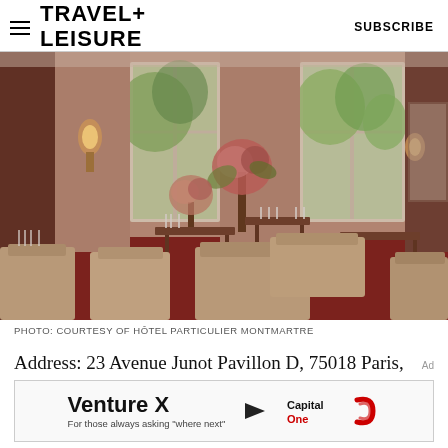TRAVEL+ LEISURE   SUBSCRIBE
[Figure (photo): Elegant restaurant dining room with plush upholstered chairs, set tables with glassware, floral arrangements, and tall windows overlooking greenery. Warm ambient lighting with wall sconces. Red carpet flooring. Hotel Particulier Montmartre.]
PHOTO: COURTESY OF HÔTEL PARTICULIER MONTMARTRE
Address: 23 Avenue Junot Pavillon D, 75018 Paris,
[Figure (other): Venture X Capital One advertisement banner. Text: Venture X, For those always asking "where next", with a right-pointing arrow and Capital One logo.]